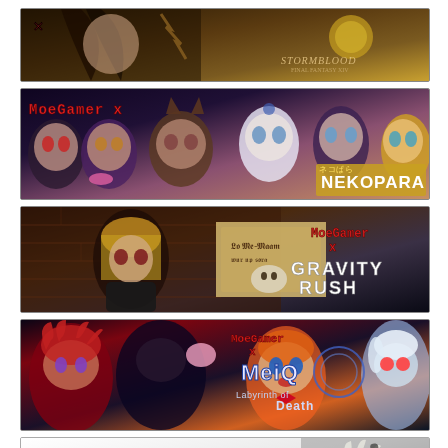[Figure (illustration): Banner: MoeGamer x Final Fantasy XIV Stormblood - anime-style character with dark hair wielding a weapon, Stormblood logo top right]
[Figure (illustration): Banner: MoeGamer x Nekopara - multiple anime catgirl characters, Nekopara logo bottom right with red MoeGamer x text top left]
[Figure (illustration): Banner: MoeGamer x Gravity Rush - blonde anime girl in dark alley with Halloween sign, Gravity Rush logo in red/white top right]
[Figure (illustration): Banner: MoeGamer x MeiQ Labyrinth of Death - red-haired character and orange-haired character, MeiQ logo with MoeGamer x text]
[Figure (illustration): Banner: MoeGameR: Automata - white-haired character from NieR:Automata, MoeGameR:Automata text in large black font on white background]